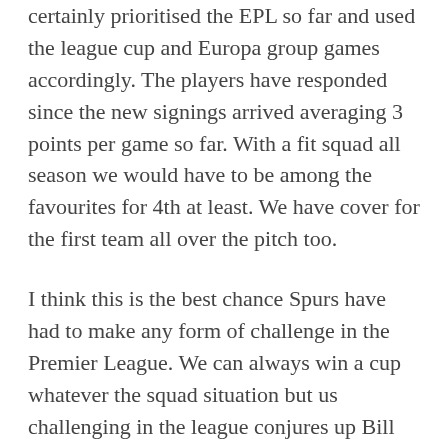certainly prioritised the EPL so far and used the league cup and Europa group games accordingly. The players have responded since the new signings arrived averaging 3 points per game so far. With a fit squad all season we would have to be among the favourites for 4th at least. We have cover for the first team all over the pitch too.
I think this is the best chance Spurs have had to make any form of challenge in the Premier League. We can always win a cup whatever the squad situation but us challenging in the league conjures up Bill Nicholson and the Spurs of the sixties. We have the squad to do it and they are playing with spirit and togetherness and brains too.